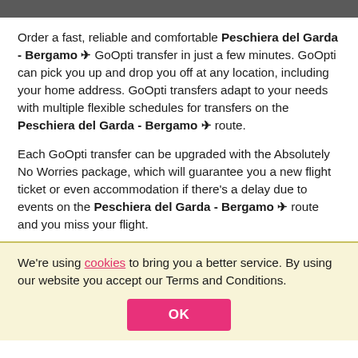Order a fast, reliable and comfortable Peschiera del Garda - Bergamo ✈ GoOpti transfer in just a few minutes. GoOpti can pick you up and drop you off at any location, including your home address. GoOpti transfers adapt to your needs with multiple flexible schedules for transfers on the Peschiera del Garda - Bergamo ✈ route.
Each GoOpti transfer can be upgraded with the Absolutely No Worries package, which will guarantee you a new flight ticket or even accommodation if there's a delay due to events on the Peschiera del Garda - Bergamo ✈ route and you miss your flight.
We're using cookies to bring you a better service. By using our website you accept our Terms and Conditions.